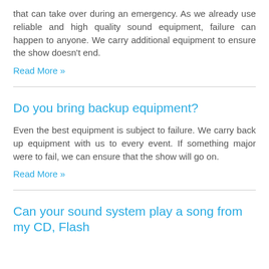that can take over during an emergency. As we already use reliable and high quality sound equipment, failure can happen to anyone. We carry additional equipment to ensure the show doesn't end.
Read More »
Do you bring backup equipment?
Even the best equipment is subject to failure. We carry back up equipment with us to every event. If something major were to fail, we can ensure that the show will go on.
Read More »
Can your sound system play a song from my CD, Flash